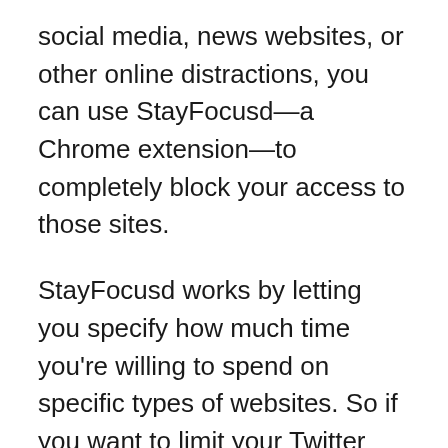social media, news websites, or other online distractions, you can use StayFocusd—a Chrome extension—to completely block your access to those sites.
StayFocusd works by letting you specify how much time you're willing to spend on specific types of websites. So if you want to limit your Twitter scrolling to 10 minutes a day, you can set that up in StayFocusd. When your 10 minutes are up, StayFocusd will block your access to Twitter for however long you tell it to.
StayFocusd also has a nuclear option that lets